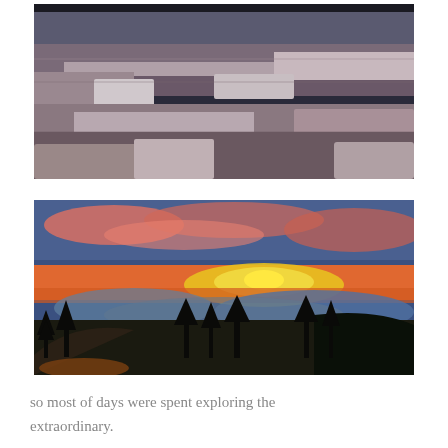[Figure (photo): Grand Canyon layered rock formations, muted blue-gray tones, HDR photograph of canyon walls and rock terraces]
[Figure (photo): Panoramic sunset landscape with vibrant orange, pink, and yellow sky over silhouetted pine trees and rolling mountain ridges]
so most of days were spent exploring the extraordinary.